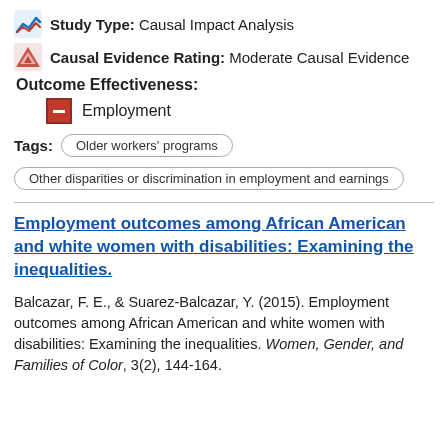Study Type: Causal Impact Analysis
Causal Evidence Rating: Moderate Causal Evidence
Outcome Effectiveness:
Employment
Tags: Older workers' programs | Other disparities or discrimination in employment and earnings
Employment outcomes among African American and white women with disabilities: Examining the inequalities.
Balcazar, F. E., & Suarez-Balcazar, Y. (2015). Employment outcomes among African American and white women with disabilities: Examining the inequalities. Women, Gender, and Families of Color, 3(2), 144-164.